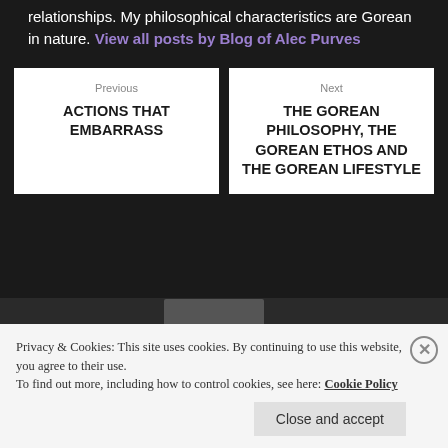relationships. My philosophical characteristics are Gorean in nature. View all posts by Blog of Alec Purves
Previous
ACTIONS THAT EMBARRASS
Next
THE GOREAN PHILOSOPHY, THE GOREAN ETHOS AND THE GOREAN LIFESTYLE
Privacy & Cookies: This site uses cookies. By continuing to use this website, you agree to their use.
To find out more, including how to control cookies, see here: Cookie Policy
Close and accept